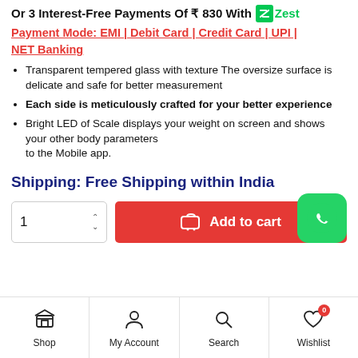Or 3 Interest-Free Payments Of ₹ 830 With Zest
Payment Mode: EMI | Debit Card | Credit Card | UPI | NET Banking
Transparent tempered glass with texture The oversize surface is delicate and safe for better measurement
Each side is meticulously crafted for your better experience
Bright LED of Scale displays your weight on screen and shows your other body parameters to the Mobile app.
Shipping: Free Shipping within India
1  Add to cart
Shop | My Account | Search | Wishlist